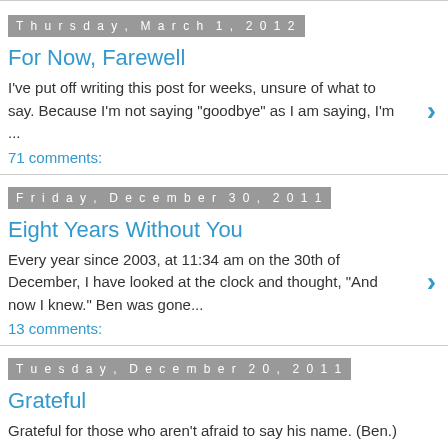Thursday, March 1, 2012
For Now, Farewell
I've put off writing this post for weeks, unsure of what to say. Because I'm not saying "goodbye" as I am saying, I'm ...
71 comments:
Friday, December 30, 2011
Eight Years Without You
Every year since 2003, at 11:34 am on the 30th of December, I have looked at the clock and thought, "And now I knew." Ben was gone...
13 comments:
Tuesday, December 20, 2011
Grateful
Grateful for those who aren't afraid to say his name. (Ben.) Grateful for those who try to understand that he is still my son, that I...